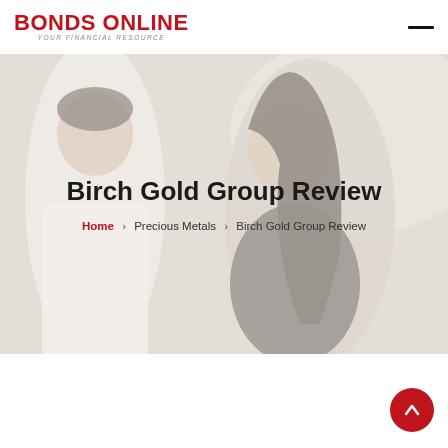Bonds Online — Your Financial Resource
[Figure (photo): Hero background photo of a smiling couple, washed out with light overlay]
Birch Gold Group Review
Home > Precious Metals > Birch Gold Group Review
[Figure (illustration): Red circular scroll-to-top button with upward arrow]